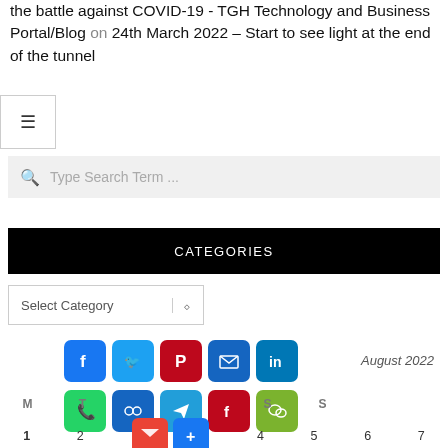the battle against COVID-19 - TGH Technology and Business Portal/Blog on 24th March 2022 – Start to see light at the end of the tunnel
[Figure (screenshot): Hamburger menu icon (three horizontal lines) in a bordered box]
[Figure (screenshot): Search bar with magnifying glass icon and placeholder text 'Type Search Term ...']
CATEGORIES
[Figure (screenshot): Select Category dropdown widget]
[Figure (infographic): Two rows of social media share icons: Facebook, Twitter, Pinterest, Email, LinkedIn (row 1); WhatsApp, Copy Link, Telegram, Flipboard, WeChat (row 2); Gmail and Add More (partial row 3). August 2022 label to the right.]
| M | T | W | T | S | S |
| --- | --- | --- | --- | --- | --- |
| 1 | 2 | 3 | 4 | 5 | 6 | 7 |